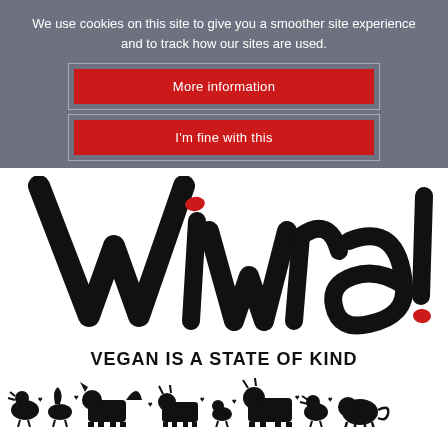We use cookies on this site to give you a smoother site experience and to track how our sites are used.
More information
I'm fine with this
[Figure (logo): Viva! logo in large brush-script black lettering with red accent marks on the i dot and exclamation mark dot]
VEGAN IS A STATE OF KIND
[Figure (illustration): Silhouettes of farm animals including chickens, geese, horses, cows, and pigs with small heart symbols]